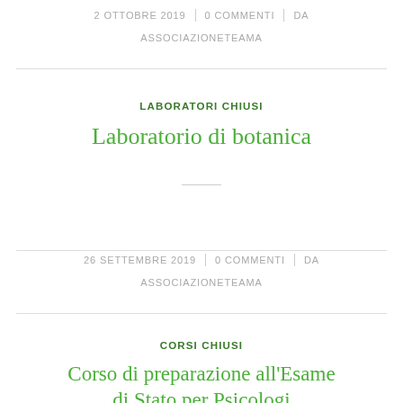2 OTTOBRE 2019 | 0 COMMENTI | DA ASSOCIAZIONETEAMA
LABORATORI CHIUSI
Laboratorio di botanica
26 SETTEMBRE 2019 | 0 COMMENTI | DA ASSOCIAZIONETEAMA
CORSI CHIUSI
Corso di preparazione all'Esame di Stato per Psicologi